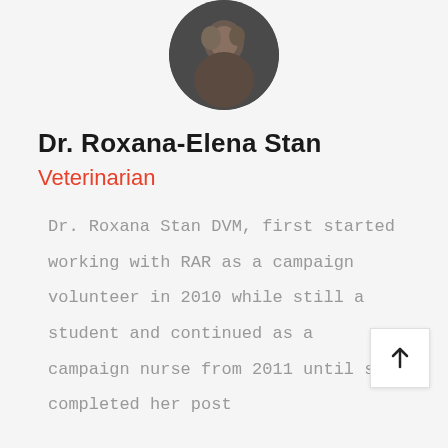[Figure (photo): Circular profile photo of Dr. Roxana-Elena Stan, partially visible at top of page]
Dr. Roxana-Elena Stan
Veterinarian
Dr. Roxana Stan DVM, first started working with RAR as a campaign volunteer in 2010 while still a student and continued as a campaign nurse from 2011 until she completed her post graduation internship